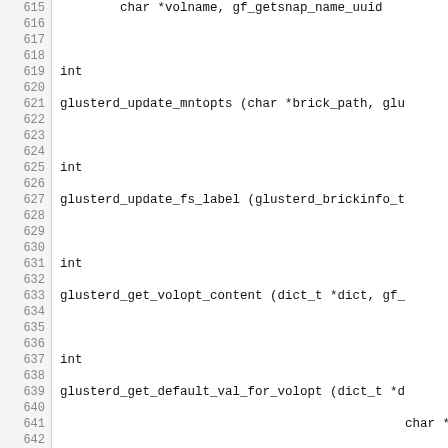Code listing lines 615-644 showing C function declarations including glusterd_update_mntopts, glusterd_update_fs_label, glusterd_get_volopt_content, glusterd_get_default_val_for_volopt, glusterd_check_client_op_version_support, glusterd_have_peers, glusterd_have_volumes, glusterd_get_rebalance_volfile